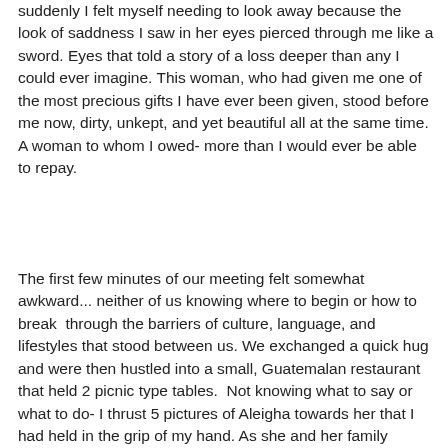suddenly I felt myself needing to look away because the look of saddness I saw in her eyes pierced through me like a sword. Eyes that told a story of a loss deeper than any I could ever imagine. This woman, who had given me one of the most precious gifts I have ever been given, stood before me now, dirty, unkept, and yet beautiful all at the same time. A woman to whom I owed- more than I would ever be able to repay.
The first few minutes of our meeting felt somewhat awkward... neither of us knowing where to begin or how to break  through the barriers of culture, language, and lifestyles that stood between us. We exchanged a quick hug and were then hustled into a small, Guatemalan restaurant that held 2 picnic type tables.  Not knowing what to say or what to do- I thrust 5 pictures of Aleigha towards her that I had held in the grip of my hand. As she and her family poured over the pictures I began to search their faces... I saw traces of my daughter... her nose, his eyes, her silky straight hair, his hands. Something I knew Aleigha and I would never share, no matter how much she was now 'my daughter'. And in an instant, just like that, my love for this